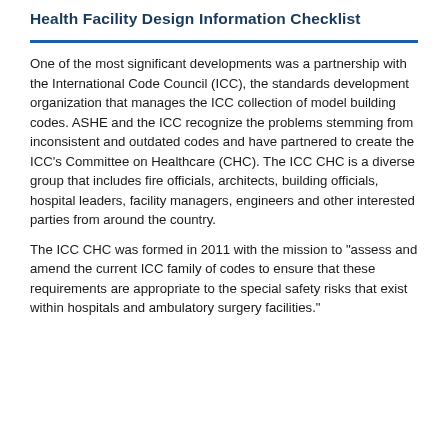Health Facility Design Information Checklist
One of the most significant developments was a partnership with the International Code Council (ICC), the standards development organization that manages the ICC collection of model building codes. ASHE and the ICC recognize the problems stemming from inconsistent and outdated codes and have partnered to create the ICC’s Committee on Healthcare (CHC). The ICC CHC is a diverse group that includes fire officials, architects, building officials, hospital leaders, facility managers, engineers and other interested parties from around the country.
The ICC CHC was formed in 2011 with the mission to “assess and amend the current ICC family of codes to ensure that these requirements are appropriate to the special safety risks that exist within hospitals and ambulatory surgery facilities.”